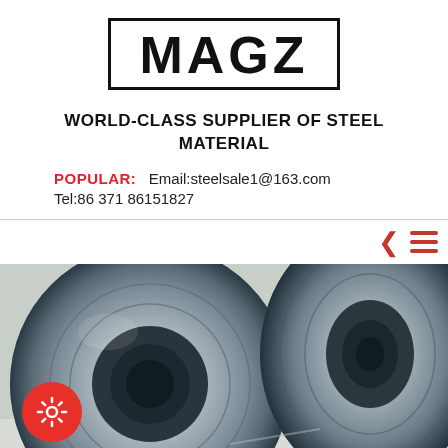MAGZ
WORLD-CLASS SUPPLIER OF STEEL MATERIAL
POPULAR:   Email:steelsale1@163.com
Tel:86 371 86151827
[Figure (photo): Close-up photo of large steel coil rolls, metallic silver-blue in color, stacked together on a light surface.]